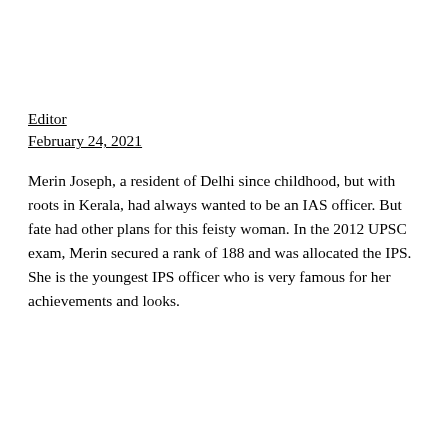Editor
February 24, 2021
Merin Joseph, a resident of Delhi since childhood, but with roots in Kerala, had always wanted to be an IAS officer. But fate had other plans for this feisty woman. In the 2012 UPSC exam, Merin secured a rank of 188 and was allocated the IPS. She is the youngest IPS officer who is very famous for her achievements and looks.